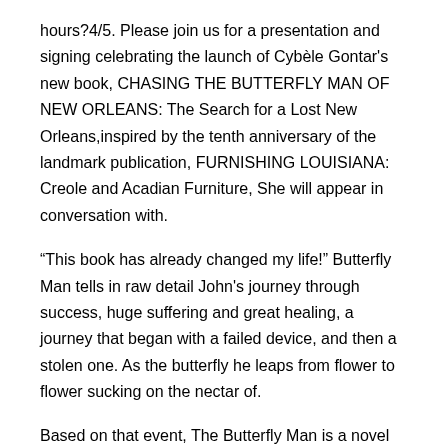hours?4/5. Please join us for a presentation and signing celebrating the launch of Cybèle Gontar's new book, CHASING THE BUTTERFLY MAN OF NEW ORLEANS: The Search for a Lost New Orleans,inspired by the tenth anniversary of the landmark publication, FURNISHING LOUISIANA: Creole and Acadian Furniture, She will appear in conversation with.
“This book has already changed my life!” Butterfly Man tells in raw detail John's journey through success, huge suffering and great healing, a journey that began with a failed device, and then a stolen one. As the butterfly he leaps from flower to flower sucking on the nectar of.
Based on that event, The Butterfly Man is a novel about coming to terms with the past when there is no future in sight. Winner of the Davitt Award for best crime fiction novel by an Australian woman inThe Butterfly Man is much more than a novel about a crime. Henri Charrière (French pronunciation: [ɑ̃ʁi ʃaʁjɛʁ]; 16 November – 29 July ) was a French writer, convicted as a murderer by the French wrote the novel Papillon, a memoir of his incarceration in and escape from a